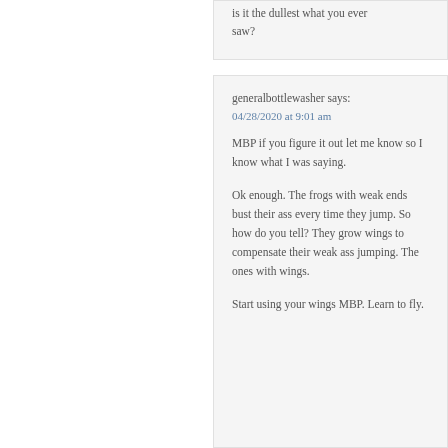is it the dullest what you ever saw?
generalbottlewasher says:
04/28/2020 at 9:01 am
MBP if you figure it out let me know so I know what I was saying.
Ok enough. The frogs with weak ends bust their ass every time they jump. So how do you tell? They grow wings to compensate their weak ass jumping. The ones with wings.
Start using your wings MBP. Learn to fly.